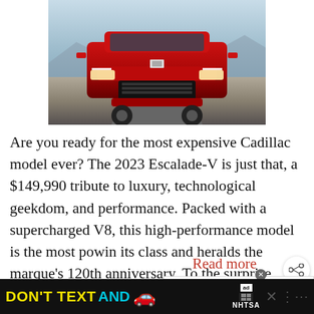[Figure (photo): Front view of a red 2023 Cadillac Escalade-V SUV on a desert road with mountains in the background]
Are you ready for the most expensive Cadillac model ever? The 2023 Escalade-V is just that, a $149,990 tribute to luxury, technological geekdom, and performance. Packed with a supercharged V8, this high-performance model is the most pow[erful] in its class and heralds the marque's 120th anniversary. To the surprise
[Figure (infographic): "WHAT'S NEXT" teaser widget showing thumbnail image and text: Car Overheats When AC is...]
Read more
[Figure (infographic): NHTSA advertisement banner: DON'T TEXT AND [drive] with car emoji, ad badge, and NHTSA logo]